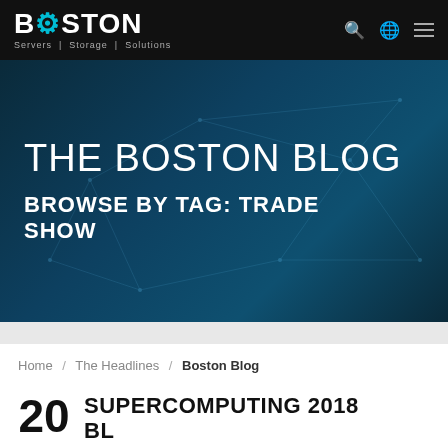BOSTON Servers | Storage | Solutions
THE BOSTON BLOG
BROWSE BY TAG: TRADE SHOW
Home / The Headlines / Boston Blog
20 SUPERCOMPUTING 2018 BL...